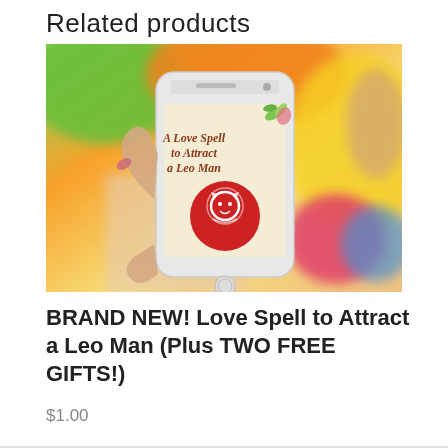Related products
[Figure (photo): Hand holding a Samsung smartphone displaying a book cover titled 'A Love Spell to Attract a Leo Man' with a red circle lion logo, set against a blurred colorful background with toys and a child.]
BRAND NEW! Love Spell to Attract a Leo Man (Plus TWO FREE GIFTS!)
$1.00